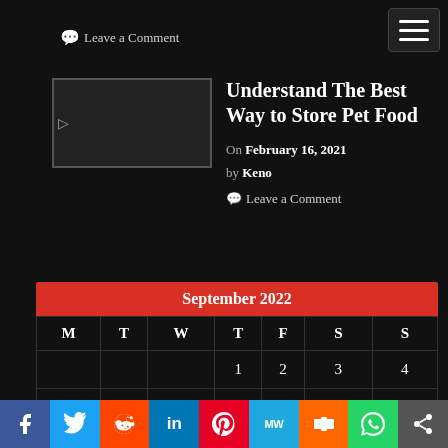Leave a Comment
Understand The Best Way to Store Pet Food
On February 16, 2021 by Keno Leave a Comment
| M | T | W | T | F | S | S |
| --- | --- | --- | --- | --- | --- | --- |
|  |  |  | 1 | 2 | 3 | 4 |
| 5 | 6 | 7 | 8 | 9 | 10 | 11 |